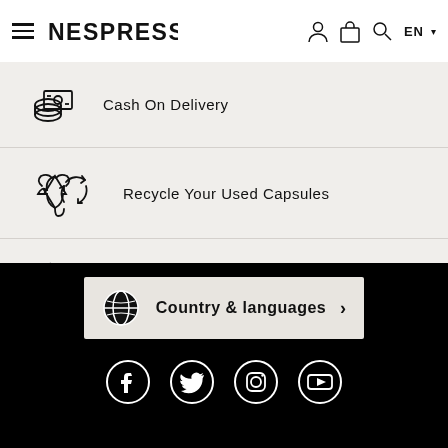Nespresso — EN
Cash On Delivery
Recycle Your Used Capsules
800 80 555 For Any Advice
Country & languages
[Figure (infographic): Social media icons: Facebook, Twitter, Instagram, YouTube]